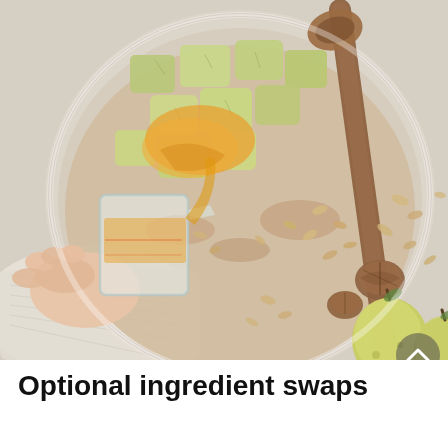[Figure (photo): Overhead food photography showing a glass bowl with chopped pears, oats, cinnamon, and honey being poured from a small glass measuring cup by a hand. A wooden spoon rests in the bowl. Scattered around the bowl on a light surface are oat flakes, walnuts, and two whole yellow-green pears. A cream linen cloth is visible in the lower left.]
Optional ingredient swaps